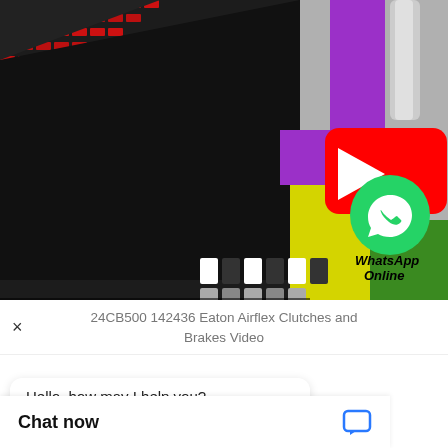[Figure (screenshot): A screenshot of a YouTube video thumbnail showing a 3D animation of Eaton Airflex clutches and brakes (red gear teeth on left, black diagonal wedge, purple and yellow mechanical components on right, YouTube play button overlay, WhatsApp Online badge, and a 'Watch on YouTube' banner at the bottom).]
24CB500 142436 Eaton Airflex Clutches and Brakes Video
Hello, how may I help you?
Chat now